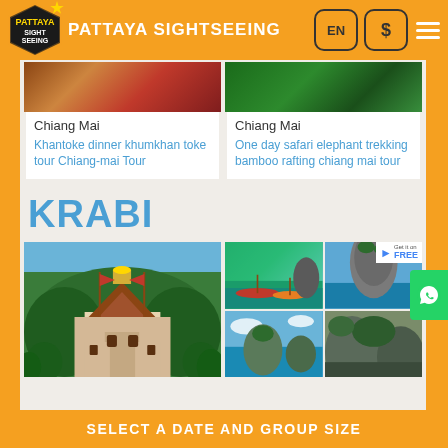PATTAYA SIGHTSEEING
Chiang Mai
Khantoke dinner khumkhan toke tour Chiang-mai Tour
Chiang Mai
One day safari elephant trekking bamboo rafting chiang mai tour
KRABI
[Figure (photo): Tiger Cave Temple on hillside in Krabi, Thailand with golden Buddha statue]
[Figure (photo): 4-grid collage of Krabi scenery: longtail boats, limestone cliffs, sea views]
SELECT A DATE AND GROUP SIZE